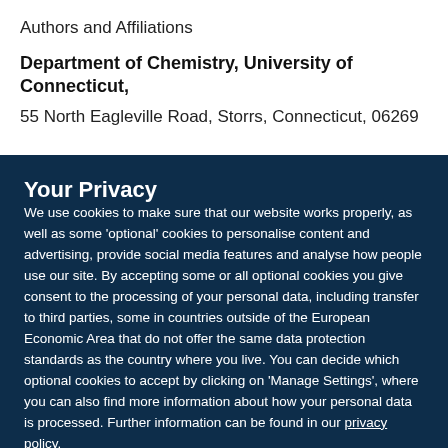Authors and Affiliations
Department of Chemistry, University of Connecticut,
55 North Eagleville Road, Storrs, Connecticut, 06269
Your Privacy
We use cookies to make sure that our website works properly, as well as some 'optional' cookies to personalise content and advertising, provide social media features and analyse how people use our site. By accepting some or all optional cookies you give consent to the processing of your personal data, including transfer to third parties, some in countries outside of the European Economic Area that do not offer the same data protection standards as the country where you live. You can decide which optional cookies to accept by clicking on 'Manage Settings', where you can also find more information about how your personal data is processed. Further information can be found in our privacy policy.
Accept all cookies
Manage preferences